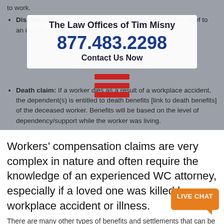to work.
Disability (PTD) fund: A supplemental fund that provides relief to an injured worker receiving PTD.
The Law Offices of Tim Misny
877.483.2298
Contact Us Now
Death claim: If a worker dies as a result of a workplace accident, the dependent(s) is entitled to death benefits [link to death benefits] of the deceased worker. Benefits will be based on the level of dependency/support while the worker was living.
[Figure (other): Hamburger menu icon made of three red horizontal bars]
Workers’ compensation claims are very complex in nature and often require the knowledge of an experienced WC attorney, especially if a loved one was killed by a workplace accident or illness.
There are many other types of benefits and settlements that can be awarded, but an attorney will be able to discuss loved one’s options more in depth.
[Figure (other): Orange live chat button with speech bubble tail]